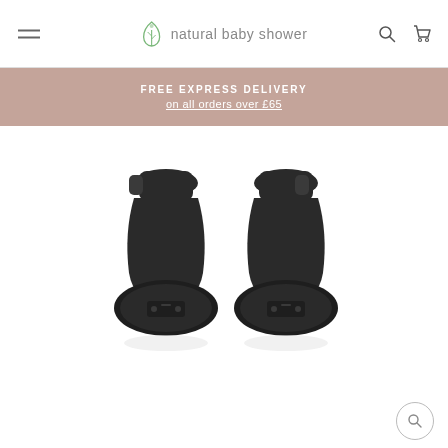natural baby shower — navigation header with hamburger menu, logo, search and cart icons
FREE EXPRESS DELIVERY on all orders over £65
[Figure (photo): Two black car seat adapters photographed against a white background, showing the bottom/mounting side with circular bases and connector clips at the top.]